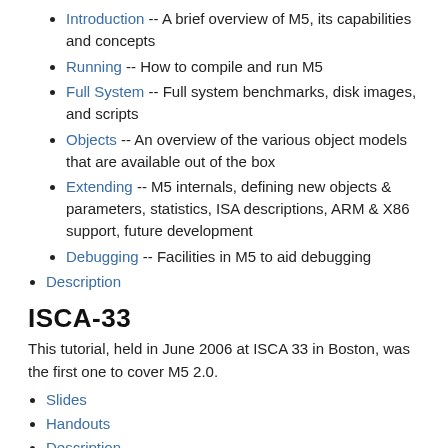Introduction -- A brief overview of M5, its capabilities and concepts
Running -- How to compile and run M5
Full System -- Full system benchmarks, disk images, and scripts
Objects -- An overview of the various object models that are available out of the box
Extending -- M5 internals, defining new objects & parameters, statistics, ISA descriptions, ARM & X86 support, future development
Debugging -- Facilities in M5 to aid debugging
Description
ISCA-33
This tutorial, held in June 2006 at ISCA 33 in Boston, was the first one to cover M5 2.0.
Slides
Handouts
Description